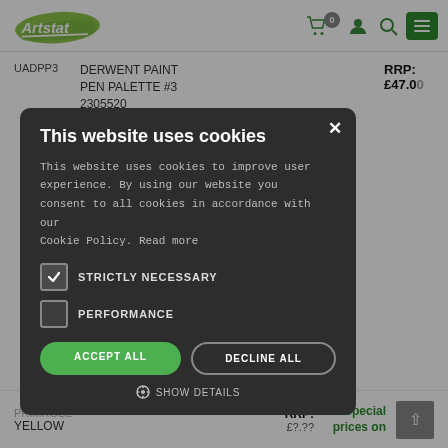Artstat — header with logo, cart (0), user, search, menu
UADPP3   DERWENT PAINT PEN PALETTE #3   2305520   RRP: £47.00
[Figure (screenshot): Cookie consent modal dialog on dark overlay. Title: 'This website uses cookies'. Body: 'This website uses cookies to improve user experience. By using our website you consent to all cookies in accordance with our Cookie Policy. Read more'. Checkboxes: STRICTLY NECESSARY (checked), PERFORMANCE (unchecked). Buttons: ACCEPT ALL (green), DECLINE ALL (outline). Footer: gear icon + SHOW DETAILS.]
YELLOW   RRP:   Special prices on